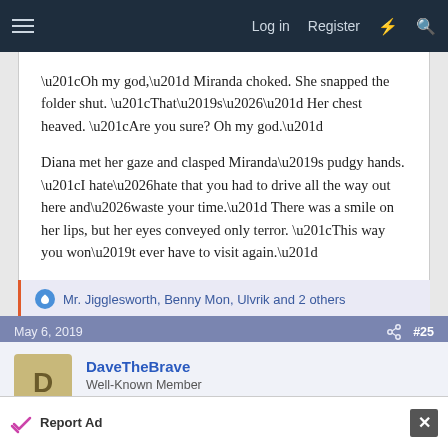Log in  Register
“Oh my god,” Miranda choked. She snapped the folder shut. “That’s…” Her chest heaved. “Are you sure? Oh my god.”

Diana met her gaze and clasped Miranda’s pudgy hands. “I hate…hate that you had to drive all the way out here and…waste your time.” There was a smile on her lips, but her eyes conveyed only terror. “This way you won’t ever have to visit again.”
Mr. Jigglesworth, Benny Mon, Ulvrik and 2 others
May 6, 2019  #25
DaveTheBrave
Well-Known Member
Report Ad